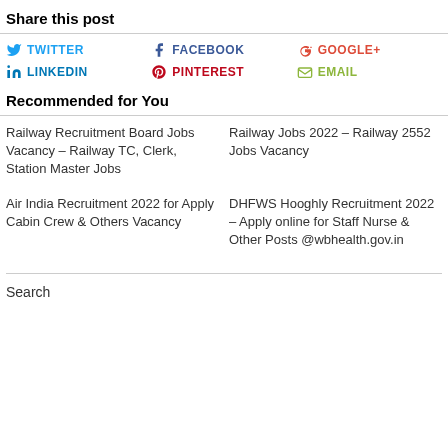Share this post
TWITTER
FACEBOOK
GOOGLE+
LINKEDIN
PINTEREST
EMAIL
Recommended for You
Railway Recruitment Board Jobs Vacancy – Railway TC, Clerk, Station Master Jobs
Railway Jobs 2022 – Railway 2552 Jobs Vacancy
Air India Recruitment 2022 for Apply Cabin Crew & Others Vacancy
DHFWS Hooghly Recruitment 2022 – Apply online for Staff Nurse & Other Posts @wbhealth.gov.in
Search